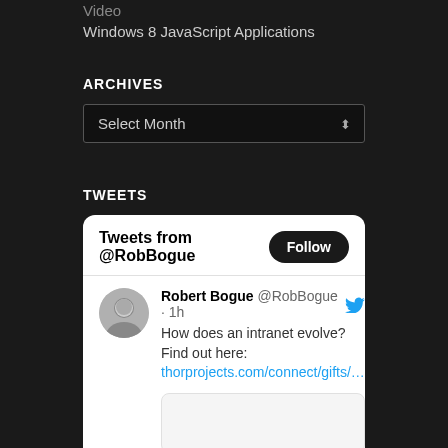Video
Windows 8 JavaScript Applications
ARCHIVES
Select Month
TWEETS
[Figure (screenshot): Twitter widget showing 'Tweets from @RobBogue' with a Follow button, and a tweet by Robert Bogue (@RobBogue · 1h): 'How does an intranet evolve? Find out here: thorprojects.com/connect/gifts/...' with a preview image placeholder.]